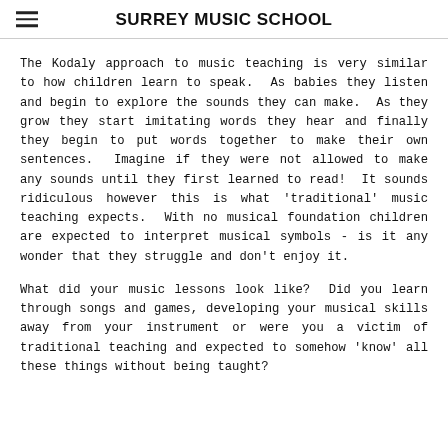SURREY MUSIC SCHOOL
The Kodaly approach to music teaching is very similar to how children learn to speak.  As babies they listen and begin to explore the sounds they can make.  As they grow they start imitating words they hear and finally they begin to put words together to make their own sentences.  Imagine if they were not allowed to make any sounds until they first learned to read!  It sounds ridiculous however this is what 'traditional' music teaching expects.  With no musical foundation children are expected to interpret musical symbols - is it any wonder that they struggle and don't enjoy it.
What did your music lessons look like?  Did you learn through songs and games, developing your musical skills away from your instrument or were you a victim of traditional teaching and expected to somehow 'know' all these things without being taught?